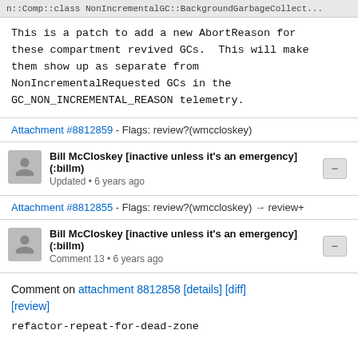n::Comp::class NonIncrementalGC::BackgroundGarbageCollect...
This is a patch to add a new AbortReason for these compartment revived GCs.  This will make them show up as separate from NonIncrementalRequested GCs in the GC_NON_INCREMENTAL_REASON telemetry.
Attachment #8812859 - Flags: review?(wmccloskey)
Bill McCloskey [inactive unless it's an emergency] (:billm)
Updated • 6 years ago
Attachment #8812855 - Flags: review?(wmccloskey) → review+
Bill McCloskey [inactive unless it's an emergency] (:billm)
Comment 13 • 6 years ago
Comment on attachment 8812858 [details] [diff] [review]
refactor-repeat-for-dead-zone